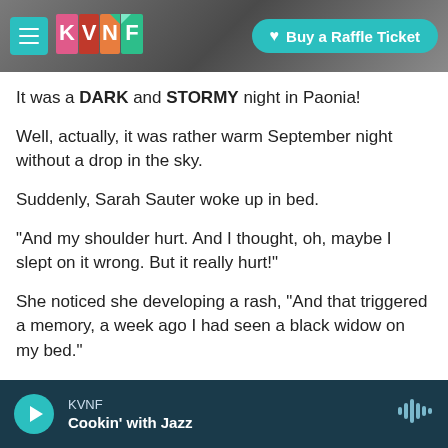[Figure (screenshot): KVNF radio station website header with teal hamburger menu icon, KVNF colorful logo, and teal 'Buy a Raffle Ticket' button on a dark rocky background]
It was a DARK and STORMY night in Paonia!
Well, actually, it was rather warm September night without a drop in the sky.
Suddenly, Sarah Sauter woke up in bed.
"And my shoulder hurt. And I thought, oh, maybe I slept on it wrong. But it really hurt!"
She noticed she developing a rash, "And that triggered a memory, a week ago I had seen a black widow on my bed."
[Figure (screenshot): Audio player footer bar with teal play button, KVNF station name, 'Cookin' with Jazz' show name, and waveform icon on dark teal background]